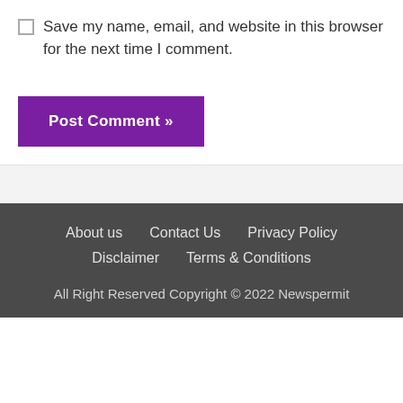Save my name, email, and website in this browser for the next time I comment.
Post Comment »
About us
Contact Us
Privacy Policy
Disclaimer
Terms & Conditions
All Right Reserved Copyright © 2022 Newspermit